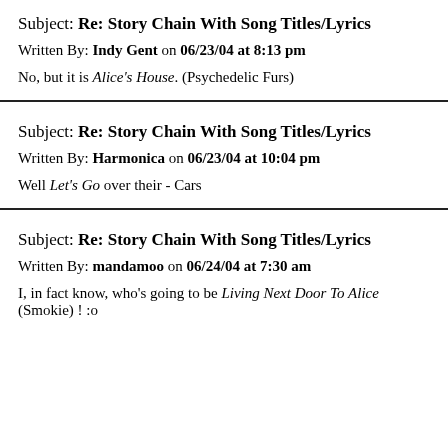Subject: Re: Story Chain With Song Titles/Lyrics
Written By: Indy Gent on 06/23/04 at 8:13 pm
No, but it is Alice's House. (Psychedelic Furs)
Subject: Re: Story Chain With Song Titles/Lyrics
Written By: Harmonica on 06/23/04 at 10:04 pm
Well Let's Go over their - Cars
Subject: Re: Story Chain With Song Titles/Lyrics
Written By: mandamoo on 06/24/04 at 7:30 am
I, in fact know, who's going to be Living Next Door To Alice (Smokie) ! :o